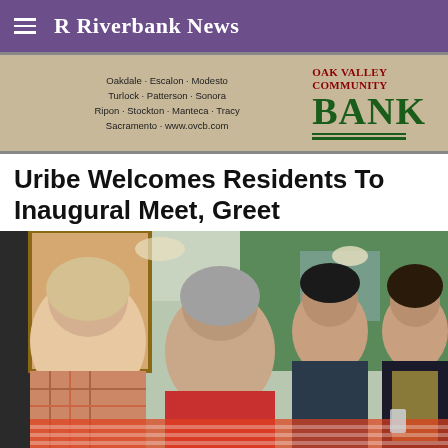R Riverbank News
[Figure (photo): Oak Valley Community Bank advertisement banner with locations: Oakdale, Escalon, Modesto, Turlock, Patterson, Sonora, Ripon, Stockton, Manteca, Tracy, Sacramento, www.ovcb.com]
Uribe Welcomes Residents To Inaugural Meet, Greet
[Figure (photo): Group of people sitting around a table at a diner/restaurant. Two older women in foreground (one in plaid, one in red), a young man in dark shirt in the middle, and a woman in a black blazer on the right, all engaged in conversation.]